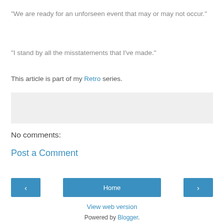"We are ready for an unforseen event that may or may not occur."
"I stand by all the misstatements that I've made."
This article is part of my Retro series.
[Figure (other): Gray placeholder box]
No comments:
Post a Comment
Home (navigation buttons with left arrow, Home, right arrow)
View web version
Powered by Blogger.